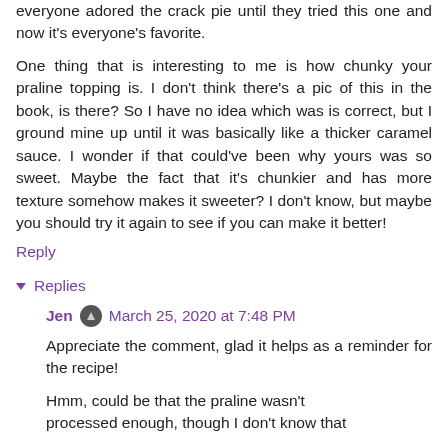everyone adored the crack pie until they tried this one and now it's everyone's favorite.
One thing that is interesting to me is how chunky your praline topping is. I don't think there's a pic of this in the book, is there? So I have no idea which was is correct, but I ground mine up until it was basically like a thicker caramel sauce. I wonder if that could've been why yours was so sweet. Maybe the fact that it's chunkier and has more texture somehow makes it sweeter? I don't know, but maybe you should try it again to see if you can make it better!
Reply
▾ Replies
Jen  March 25, 2020 at 7:48 PM
Appreciate the comment, glad it helps as a reminder for the recipe!
Hmm, could be that the praline wasn't processed enough, though I don't know that